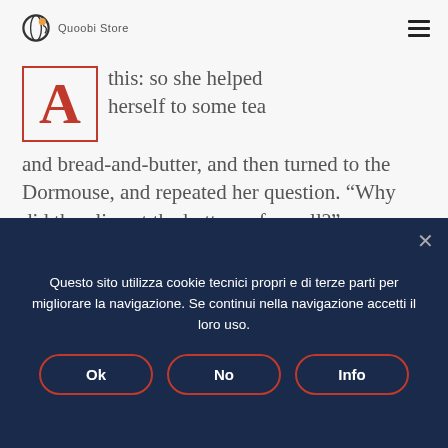Quoobi Store [logo]
[Figure (illustration): Drop-cap decorative letter A in red/salmon color inside a rectangular border]
this: so she helped herself to some tea and bread-and-butter, and then turned to the Dormouse, and repeated her question. “Why did they live at the bottom of a well?”
The Caterpillar and Alice looked at each other for some time in silence:
Questo sito utilizza cookie tecnici propri e di terze parti per migliorare la navigazione. Se continui nella navigazione accetti il loro uso.
Ok
No
Info